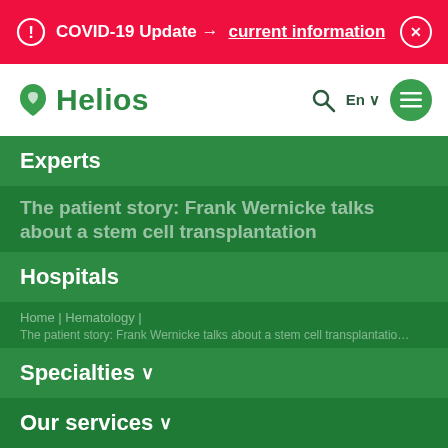COVID-19 Update → current information
[Figure (logo): Helios hospital logo with green leaf/stethoscope icon and 'Helios' text in green]
Experts
The patient story: Frank Wernicke talks about a stem cell transplantation
Hospitals
Home | Hematology | The patient story: Frank Wernicke talks about a stem cell transplantation
Specialties
Our services
This site uses cookies in order to provide you with the best possible service.
Read Our Cookie Policy
Agree